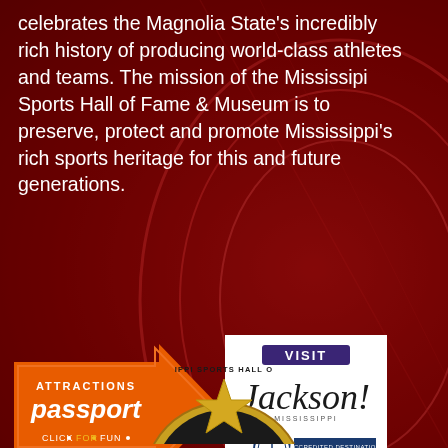celebrates the Magnolia State's incredibly rich history of producing world-class athletes and teams. The mission of the Mississipi Sports Hall of Fame & Museum is to preserve, protect and promote Mississippi's rich sports heritage for this and future generations.
[Figure (logo): Attractions Passport orange arrow badge with text 'ATTRACTIONS passport CLICK FOR FUN']
[Figure (logo): Visit Jackson! Mississippi logo with Accredited Destination Marketing Organization seal]
CONNECT
17K people like this. Sign Up to see
[Figure (logo): Mississippi Sports Hall of Fame circular badge/seal at bottom of page, partially visible]